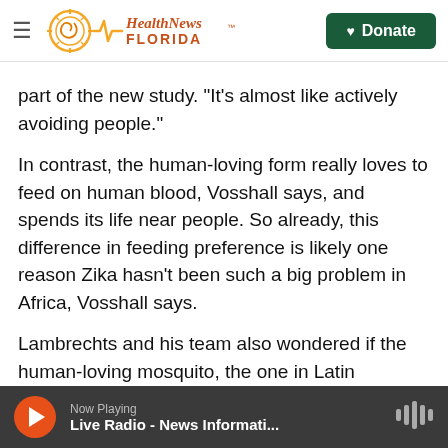Health News Florida — Donate
part of the new study. "It's almost like actively avoiding people."
In contrast, the human-loving form really loves to feed on human blood, Vosshall says, and spends its life near people. So already, this difference in feeding preference is likely one reason Zika hasn't been such a big problem in Africa, Vosshall says.
Lambrechts and his team also wondered if the human-loving mosquito, the one in Latin America, is somehow more susceptible to infection with Zika than the forest-dwelling form and better at transmitting the virus.
Now Playing — Live Radio - News Informati...